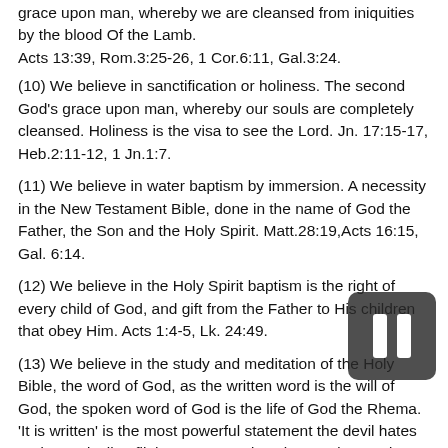grace upon man, whereby we are cleansed from iniquities by the blood Of the Lamb.
Acts 13:39, Rom.3:25-26, 1 Cor.6:11, Gal.3:24.
(10) We believe in sanctification or holiness. The second God's grace upon man, whereby our souls are completely cleansed. Holiness is the visa to see the Lord. Jn. 17:15-17, Heb.2:11-12, 1 Jn.1:7.
(11) We believe in water baptism by immersion. A necessity in the New Testament Bible, done in the name of God the Father, the Son and the Holy Spirit. Matt.28:19,Acts 16:15, Gal. 6:14.
(12) We believe in the Holy Spirit baptism is the right of every child of God, and gift from the Father to His children that obey Him. Acts 1:4-5, Lk. 24:49.
(13) We believe in the study and meditation of the Holy Bible, the word of God, as the written word is the will of God, the spoken word of God is the life of God the Rhema. 'It is written' is the most powerful statement the devil hates and puts devil to flight. God's word works wonders to date. Josh. 1:8, Matt. 4:4, Psa. 119:11, Isa. 138:2.